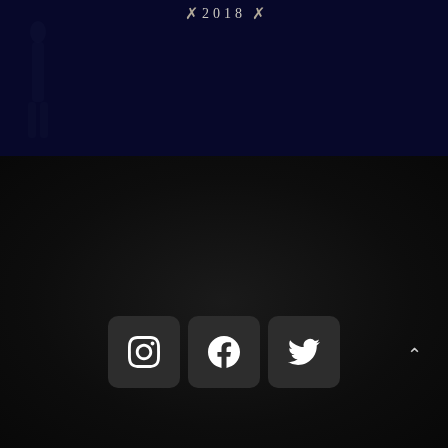[Figure (other): Dark navy top section with decorative '2018' year label flanked by ornamental wing/feather decorations, and a faint dark silhouette figure on the left side]
[Figure (other): Dark textured bottom section background with a dark leather/fabric texture, containing an upward chevron arrow in the bottom right and three social media icon buttons (Instagram, Facebook, Twitter) centered near the bottom]